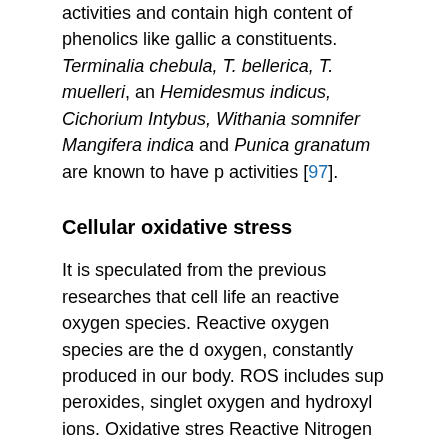activities and contain high content of phenolics like gallic acid constituents. Terminalia chebula, T. bellerica, T. muelleri, and Hemidesmus indicus, Cichorium Intybus, Withania somnifera, Mangifera indica and Punica granatum are known to have p activities [97].
Cellular oxidative stress
It is speculated from the previous researches that cell life an reactive oxygen species. Reactive oxygen species are the d oxygen, constantly produced in our body. ROS includes sup peroxides, singlet oxygen and hydroxyl ions. Oxidative stres Reactive Nitrogen Species (RNS), which includes nitrate, ni oxide and peroxynitrite. It is formed by the reaction of molec as shown in enzymatic and non-enzymatic reactions that are generation [4].
| REACTIVE OXYGEN SPECIES |
| --- |
| Superoxide anion O₂⁻ |